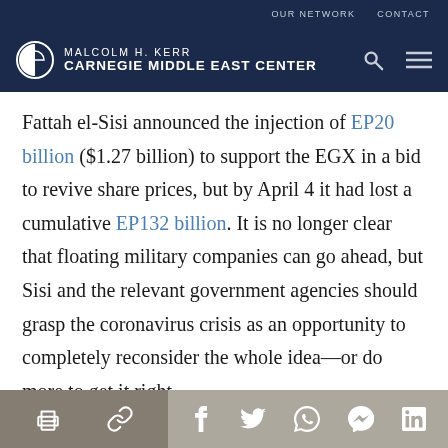OUR NETWORK   CONTACT
[Figure (logo): Malcolm H. Kerr Carnegie Middle East Center logo with navigation icons (search, hamburger menu)]
Fattah el-Sisi announced the injection of EP20 billion ($1.27 billion) to support the EGX in a bid to revive share prices, but by April 4 it had lost a cumulative EP132 billion. It is no longer clear that floating military companies can go ahead, but Sisi and the relevant government agencies should grasp the coronavirus crisis as an opportunity to completely reconsider the whole idea—or do more to get it right.
Print, Share links, Facebook, Twitter, WhatsApp, Messenger, LinkedIn icons